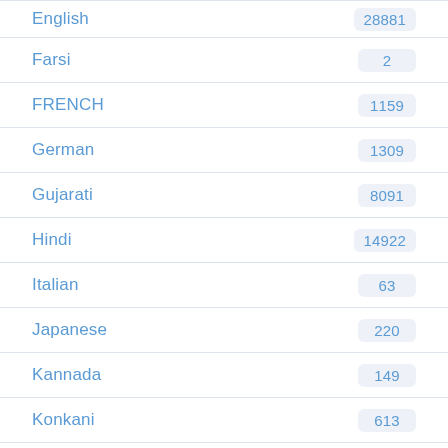English | 28881
Farsi | 2
FRENCH | 1159
German | 1309
Gujarati | 8091
Hindi | 14922
Italian | 63
Japanese | 220
Kannada | 149
Konkani | 613
Malualam | 878